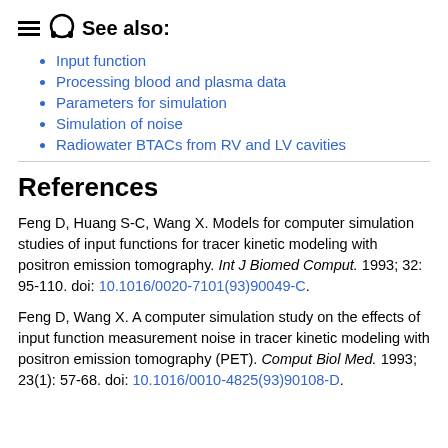See also:
Input function
Processing blood and plasma data
Parameters for simulation
Simulation of noise
Radiowater BTACs from RV and LV cavities
References
Feng D, Huang S-C, Wang X. Models for computer simulation studies of input functions for tracer kinetic modeling with positron emission tomography. Int J Biomed Comput. 1993; 32: 95-110. doi: 10.1016/0020-7101(93)90049-C.
Feng D, Wang X. A computer simulation study on the effects of input function measurement noise in tracer kinetic modeling with positron emission tomography (PET). Comput Biol Med. 1993; 23(1): 57-68. doi: 10.1016/0010-4825(93)90108-D.